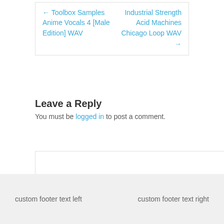← Toolbox Samples Anime Vocals 4 [Male Edition] WAV    Industrial Strength Acid Machines Chicago Loop WAV →
Leave a Reply
You must be logged in to post a comment.
custom footer text left    custom footer text right